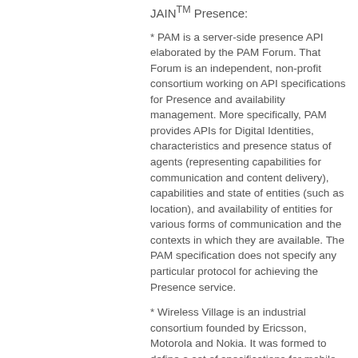JAIN™ Presence:
* PAM is a server-side presence API elaborated by the PAM Forum. That Forum is an independent, non-profit consortium working on API specifications for Presence and availability management. More specifically, PAM provides APIs for Digital Identities, characteristics and presence status of agents (representing capabilities for communication and content delivery), capabilities and state of entities (such as location), and availability of entities for various forms of communication and the contexts in which they are available. The PAM specification does not specify any particular protocol for achieving the Presence service.
* Wireless Village is an industrial consortium founded by Ericsson, Motorola and Nokia. It was formed to define a set of specifications for mobile Instant Messaging and Presence services (IMPS). Those specifications will be used for exchanging messages and presence information between mobile devices, mobile services and Internet-based instant messaging services.
* Jabber is an open, XML-based protocol for which multiple implementations exist. These implementations have been used mainly to provide instant messaging and presence services.
* SIP is an IETF Standard protocol for IP-communications, enabling IP-Telephony gateways, client endpoints, PBXs and other communication systems or devices to communicate with each other. SIP primarily addresses the call setup and tear down mechanisms of sessions and is independent of the transmission of media streams